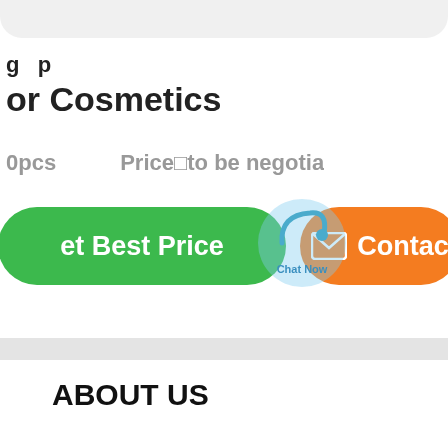or Cosmetics
0pcs    Price□to be negotia
[Figure (screenshot): Green rounded button labeled 'et Best Price' and orange rounded button labeled with envelope icon and 'Contac', with a 'Chat Now' circular overlay watermark in between]
ABOUT US